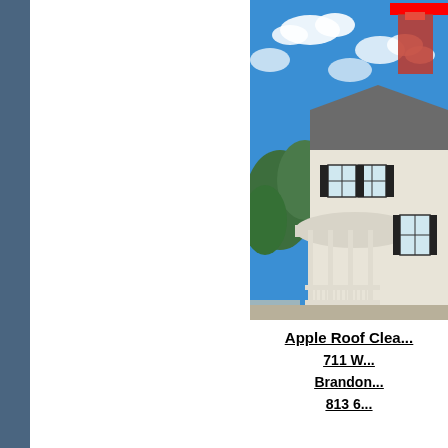[Figure (photo): Photo of a white two-story colonial house with dark shutters and a rounded porch with white columns and railings, taken under a bright blue sky with white clouds. A red-colored piece of equipment (lift/crane) is visible in the upper right area of the photo, partially obscured by a red redaction block.]
Apple Roof Clea...
711 W...
Brandon...
813 6...